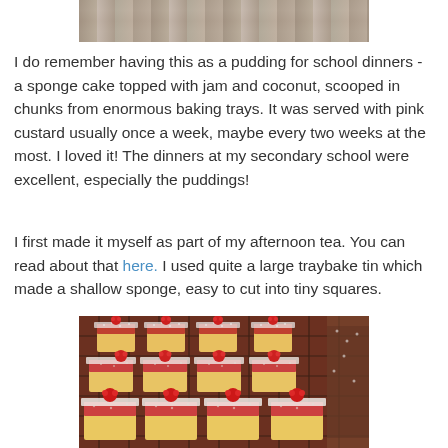[Figure (photo): Top portion of a food photo, showing a textured wooden or light surface, cropped at top of page]
I do remember having this as a pudding for school dinners - a sponge cake topped with jam and coconut, scooped in chunks from enormous baking trays.  It was served with pink custard usually once a week, maybe every two weeks at the most.  I loved it!  The dinners at my secondary school were excellent, especially the puddings!
I first made it myself as part of my afternoon tea.  You can read about that here.  I used quite a large traybake tin which made a shallow sponge, easy to cut into tiny squares.
[Figure (photo): Photo of small square sponge cake pieces topped with jam, desiccated coconut, and a fresh raspberry on each piece, arranged on a wire cooling rack]